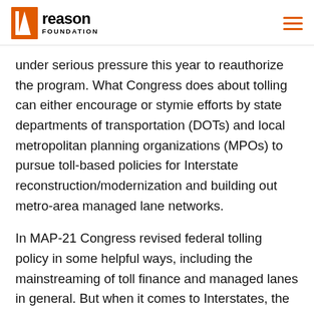Reason Foundation
under serious pressure this year to reauthorize the program. What Congress does about tolling can either encourage or stymie efforts by state departments of transportation (DOTs) and local metropolitan planning organizations (MPOs) to pursue toll-based policies for Interstate reconstruction/modernization and building out metro-area managed lane networks.
In MAP-21 Congress revised federal tolling policy in some helpful ways, including the mainstreaming of toll finance and managed lanes in general. But when it comes to Interstates, the liberalized tolling policy only permits toll financing for the addition of